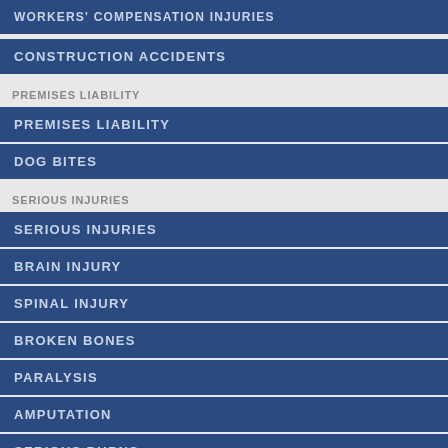WORKERS' COMPENSATION INJURIES
CONSTRUCTION ACCIDENTS
PREMISES LIABILITY
PREMISES LIABILITY
DOG BITES
SERIOUS INJURIES
SERIOUS INJURIES
BRAIN INJURY
SPINAL INJURY
BROKEN BONES
PARALYSIS
AMPUTATION
SERIOUS BURNS
WRONGFUL DEATH
WHAT TO DO IF YOU'VE BEEN INJURED
SHOULD I TALK TO THE POLICE?